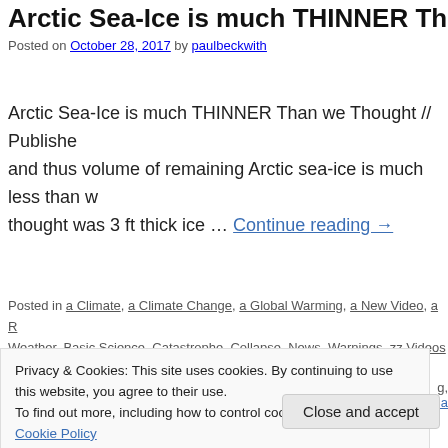Arctic Sea-Ice is much THINNER Than we…
Posted on October 28, 2017 by paulbeckwith
Arctic Sea-Ice is much THINNER Than we Thought // Published and thus volume of remaining Arctic sea-ice is much less than we thought was 3 ft thick ice … Continue reading →
Posted in a Climate, a Climate Change, a Global Warming, a New Video, a R… Weather, Basic Science, Catastrophe, Collapse, News, Warnings, zz Videos… Sea Ice, a Climate, a Climate Casino, a Drought, a Flood, a Global Warming,…
Privacy & Cookies: This site uses cookies. By continuing to use this website, you agree to their use.
To find out more, including how to control cookies, see here: Cookie Policy
Close and accept